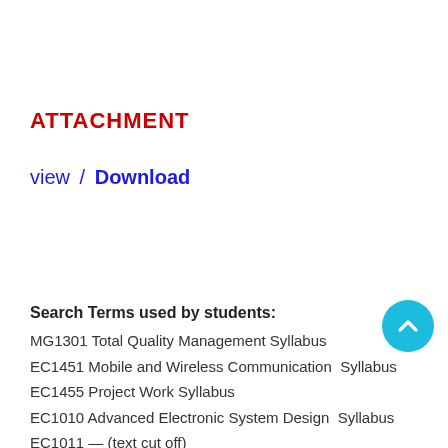ATTACHMENT
view  /  Download
Search Terms used by students:
MG1301 Total Quality Management Syllabus
EC1451 Mobile and Wireless Communication  Syllabus
EC1455 Project Work Syllabus
EC1010 Advanced Electronic System Design  Syllabus
EC1011 — (partially visible)